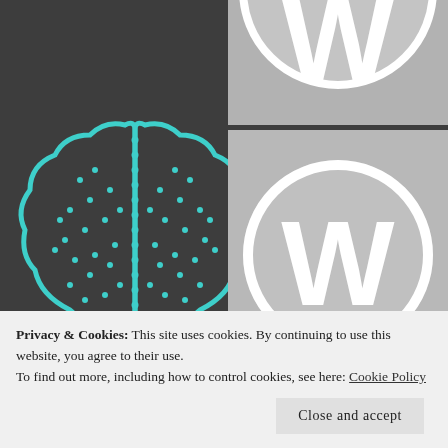[Figure (logo): WordPress logo (W in circle) on grey background, partially visible at top right]
[Figure (illustration): Teal outline brain icon with dotted neural pattern on dark grey background]
[Figure (logo): WordPress logo (W in circle) on grey background, full size middle right]
[Figure (photo): Photo of a woman with sunglasses standing in front of a concrete wall, partially visible]
[Figure (photo): Colorful abstract/artistic photo, partially visible at right]
Privacy & Cookies: This site uses cookies. By continuing to use this website, you agree to their use.
To find out more, including how to control cookies, see here: Cookie Policy
Close and accept